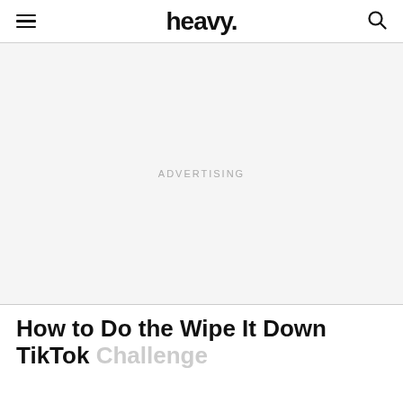heavy.
ADVERTISING
How to Do the Wipe It Down TikTok Challenge